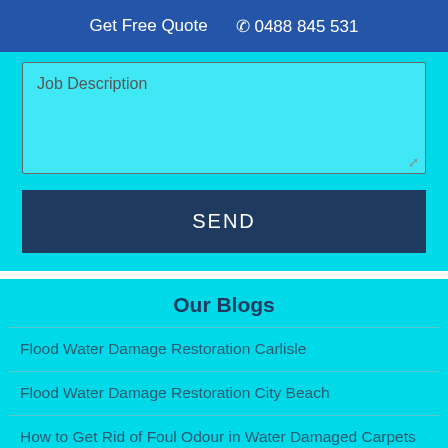Get Free Quote  📞 0488 845 531
[Figure (screenshot): Web form textarea with placeholder text 'Job Description' on a cyan background]
SEND
Our Blogs
Flood Water Damage Restoration Carlisle
Flood Water Damage Restoration City Beach
How to Get Rid of Foul Odour in Water Damaged Carpets
How to Restore Carpet from Water Damage